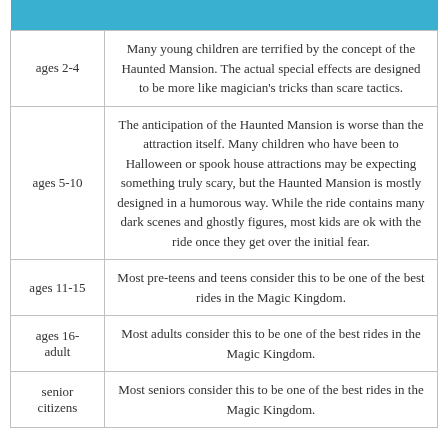|  |  |
| --- | --- |
| ages 2-4 | Many young children are terrified by the concept of the Haunted Mansion. The actual special effects are designed to be more like magician's tricks than scare tactics. |
| ages 5-10 | The anticipation of the Haunted Mansion is worse than the attraction itself. Many children who have been to Halloween or spook house attractions may be expecting something truly scary, but the Haunted Mansion is mostly designed in a humorous way. While the ride contains many dark scenes and ghostly figures, most kids are ok with the ride once they get over the initial fear. |
| ages 11-15 | Most pre-teens and teens consider this to be one of the best rides in the Magic Kingdom. |
| ages 16-adult | Most adults consider this to be one of the best rides in the Magic Kingdom. |
| senior citizens | Most seniors consider this to be one of the best rides in the Magic Kingdom. |